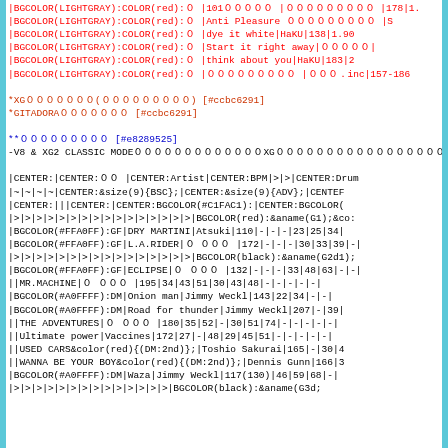Wiki markup source code / table data for a music game (GITADORA/dance game) song list, showing song entries with BGCOLOR formatting codes, artist names, BPM values, and difficulty ratings.